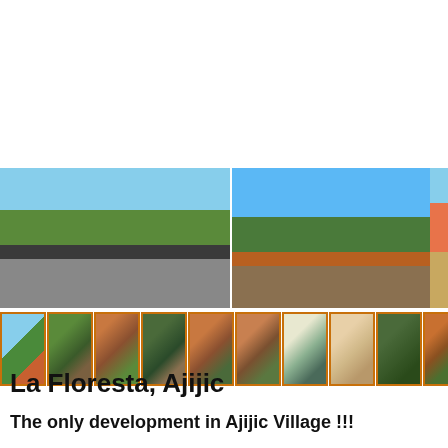[Figure (photo): Large panoramic strip of two main photos: left photo shows tall bare-branched trees lining a road in La Floresta, Ajijic; center photo shows the gated entrance with orange pillar towers, lush greenery, and mountains in background; partial right photo with yellow wall visible.]
[Figure (photo): Row of 10 small thumbnail photos with orange borders showing various scenes of La Floresta development: sky and vegetation, hillside, courtyard/corridor, tree-lined path, garden, wall with vines, white building facade, yellow building, dense trees, orange structure.]
La Floresta, Ajijic
The only development in Ajijic Village !!!